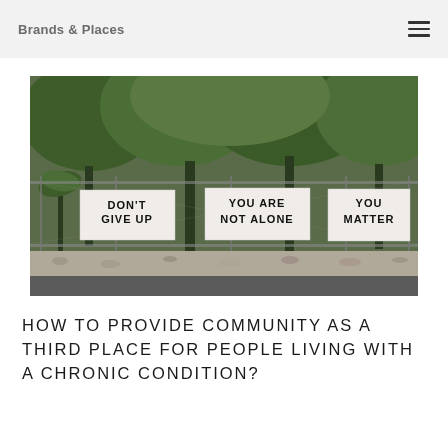Brands & Places
[Figure (photo): Photograph of signs on a chain-link fence reading DON'T GIVE UP, YOU ARE NOT ALONE, YOU MATTER, with trees and shrubs in background]
HOW TO PROVIDE COMMUNITY AS A THIRD PLACE FOR PEOPLE LIVING WITH A CHRONIC CONDITION?